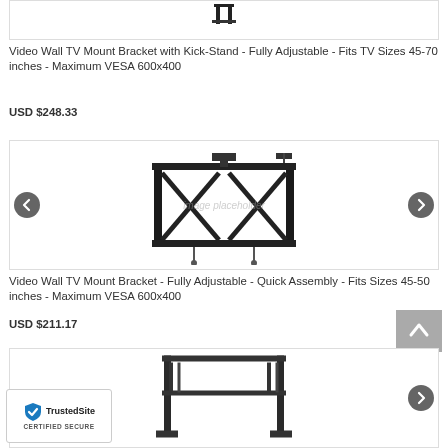[Figure (photo): Product image of Video Wall TV Mount Bracket with Kick-Stand, shown partially at the top of the page]
Video Wall TV Mount Bracket with Kick-Stand - Fully Adjustable - Fits TV Sizes 45-70 inches - Maximum VESA 600x400
USD $248.33
[Figure (photo): Product image of Video Wall TV Mount Bracket - Fully Adjustable - Quick Assembly, showing metal bracket frame structure with left and right navigation arrows]
Video Wall TV Mount Bracket - Fully Adjustable - Quick Assembly - Fits Sizes 45-50 inches - Maximum VESA 600x400
USD $211.17
[Figure (photo): Partial product image of another Video Wall TV Mount Bracket at the bottom of the page]
[Figure (logo): TrustedSite Certified Secure badge in bottom-left corner]